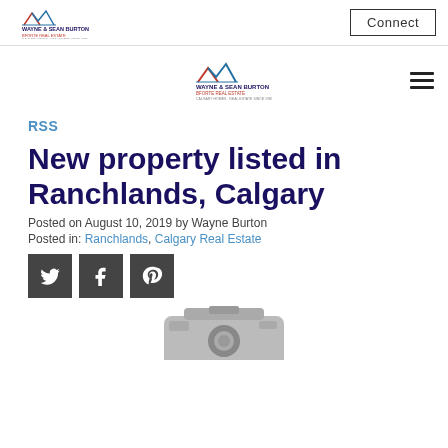Wayne & Sean Burton — Bforte Real Estate | Connect
[Figure (logo): Wayne & Sean Burton Bforte Real Estate logo (desktop header)]
[Figure (logo): Wayne & Sean Burton Bforte Real Estate logo (mobile nav center)]
RSS
New property listed in Ranchlands, Calgary
Posted on August 10, 2019 by Wayne Burton
Posted in: Ranchlands, Calgary Real Estate
[Figure (illustration): Social share icons: Twitter, Facebook, Pinterest (dark square buttons)]
[Figure (photo): Partial property photo visible at bottom of page (cropped, grayscale camera/property image)]